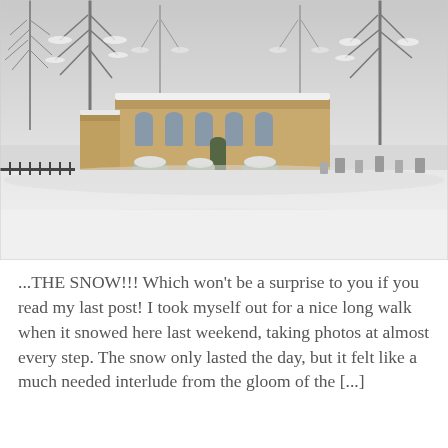[Figure (photo): A snowy winter scene showing a stone church or chapel building surrounded by snow-covered trees. The ground is blanketed in deep white snow, with gravestones visible in the distance. The sky is overcast and grey. The photo is in black and white / muted tones.]
...THE SNOW!!! Which won't be a surprise to you if you read my last post! I took myself out for a nice long walk when it snowed here last weekend, taking photos at almost every step. The snow only lasted the day, but it felt like a much needed interlude from the gloom of the [...]